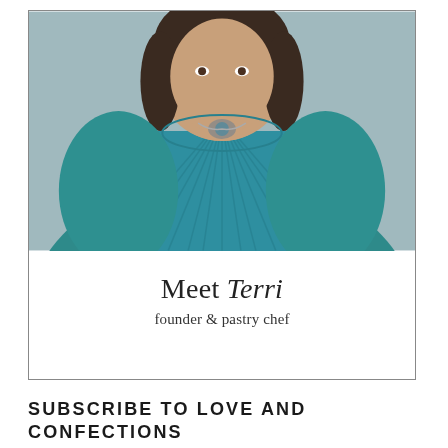[Figure (photo): Portrait photo of a woman with dark hair wearing a teal/turquoise pleated top and a silver necklace, cropped at the shoulders and above.]
Meet Terri
founder & pastry chef
SUBSCRIBE TO LOVE AND CONFECTIONS